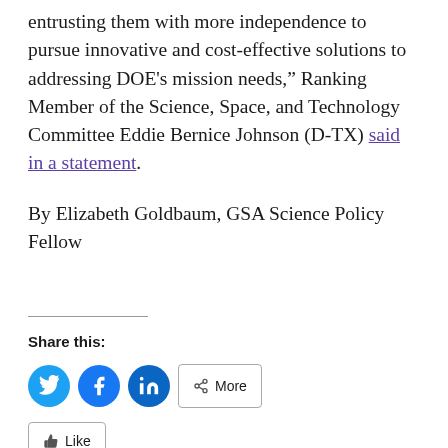entrusting them with more independence to pursue innovative and cost-effective solutions to addressing DOE’s mission needs,” Ranking Member of the Science, Space, and Technology Committee Eddie Bernice Johnson (D-TX) said in a statement.
By Elizabeth Goldbaum, GSA Science Policy Fellow
Share this:
[Figure (other): Social sharing buttons: Twitter (blue circle), Facebook (blue circle), LinkedIn (blue circle), More (rounded rectangle with share icon)]
[Figure (other): Like button (partially visible at bottom)]